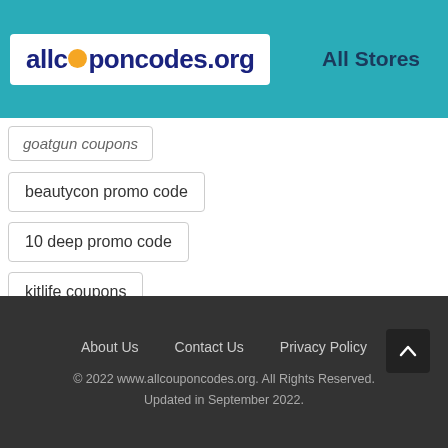[Figure (logo): allcouponcodes.org logo with orange circle replacing the 'o' in 'coupon']
All Stores
goatgun coupons
beautycon promo code
10 deep promo code
kitlife coupons
About Us   Contact Us   Privacy Policy
© 2022 www.allcouponcodes.org. All Rights Reserved. Updated in September 2022.